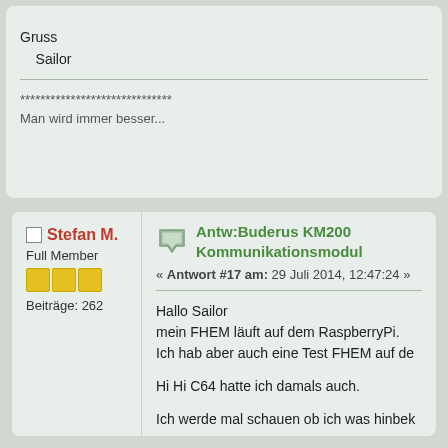Gruss
    Sailor
******************************
Man wird immer besser...
Stefan M.
Full Member
Beiträge: 262
Antw:Buderus KM200 Kommunikationsmodul
« Antwort #17 am: 29 Juli 2014, 12:47:24 »
Hallo Sailor
mein FHEM läuft auf dem RaspberryPi.
Ich hab aber auch eine Test FHEM auf de

Hi Hi C64 hatte ich damals auch.

Ich werde mal schauen ob ich was hinbek

LG
Stefan